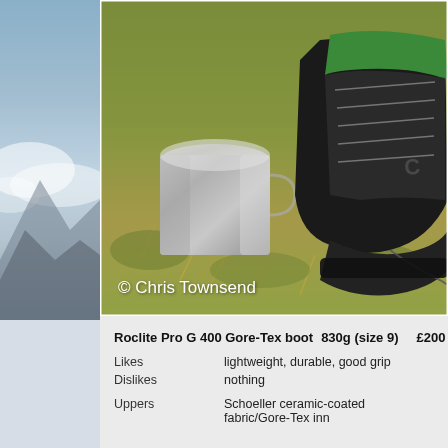[Figure (photo): A black and green hiking boot (Roclite Pro G 400 Gore-Tex) placed on mossy grass outdoors, next to a stainless steel camping cup, photographed from above. Watermark reads '© Chris Townsend'.]
Roclite Pro G 400 Gore-Tex boot   830g (size 9)   £200
Likes   lightweight, durable, good grip
Dislikes   nothing
Uppers   Schoeller ceramic-coated fabric/Gore-Tex inn